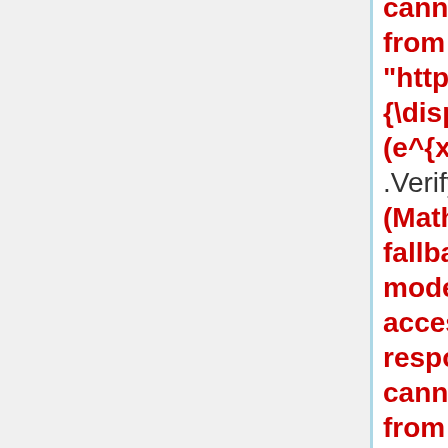cannot connect to Restbase.) from server "https://wikimedia.org/api/rest_v1/ {\displaystyle f=(2x^2 y-x^4)i+(e^{xy}-y\sin x)j+x^2 \cos y k\,} .Verify that Failed to parse (MathML with SVG or PNG fallback (recommended for modern browsers and accessibility tools): Invalid response ("Math extension cannot connect to Restbase.") from server "https://wikimedia.org/api/rest_v1/ {\displaystyle \frac{\partial ^2 f}{\partial x \partial y}=\frac{\partial ^2 f}{\partial y \partial x}\,}